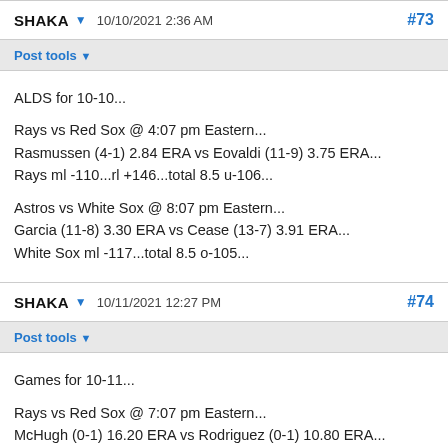SHAKA  10/10/2021 2:36 AM  #73
Post tools
ALDS for 10-10...

Rays vs Red Sox @ 4:07 pm Eastern...
Rasmussen (4-1) 2.84 ERA vs Eovaldi (11-9) 3.75 ERA...
Rays ml -110...rl +146...total 8.5 u-106...

Astros vs White Sox @ 8:07 pm Eastern...
Garcia (11-8) 3.30 ERA vs Cease (13-7) 3.91 ERA...
White Sox ml -117...total 8.5 o-105...
SHAKA  10/11/2021 12:27 PM  #74
Post tools
Games for 10-11...

Rays vs Red Sox @ 7:07 pm Eastern...
McHugh (0-1) 16.20 ERA vs Rodriguez (0-1) 10.80 ERA...